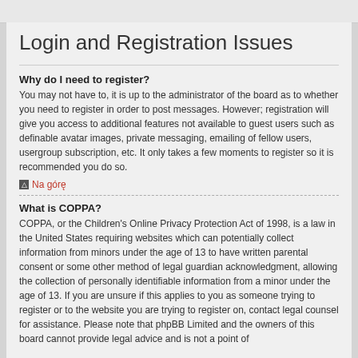Login and Registration Issues
Why do I need to register?
You may not have to, it is up to the administrator of the board as to whether you need to register in order to post messages. However; registration will give you access to additional features not available to guest users such as definable avatar images, private messaging, emailing of fellow users, usergroup subscription, etc. It only takes a few moments to register so it is recommended you do so.
Na górę
What is COPPA?
COPPA, or the Children's Online Privacy Protection Act of 1998, is a law in the United States requiring websites which can potentially collect information from minors under the age of 13 to have written parental consent or some other method of legal guardian acknowledgment, allowing the collection of personally identifiable information from a minor under the age of 13. If you are unsure if this applies to you as someone trying to register or to the website you are trying to register on, contact legal counsel for assistance. Please note that phpBB Limited and the owners of this board cannot provide legal advice and is not a point of